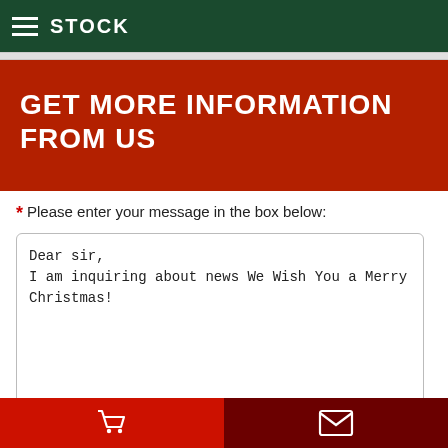STOCK
GET MORE INFORMATION FROM US
* Please enter your message in the box below:
Dear sir,
I am inquiring about news We Wish You a Merry Christmas!
Cart | Contact icons